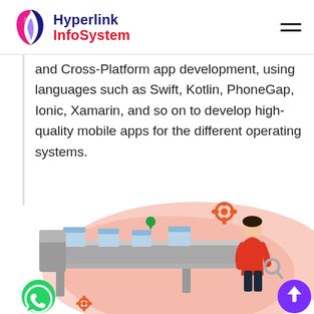Hyperlink InfoSystem
and Cross-Platform app development, using languages such as Swift, Kotlin, PhoneGap, Ionic, Xamarin, and so on to develop high-quality mobile apps for the different operating systems.
[Figure (illustration): An illustration showing a conveyor belt with boxes, a person in a red shirt inspecting items with a magnifying glass, gear icons, a WhatsApp button, and a back-to-top button on a salmon/pink background blob.]